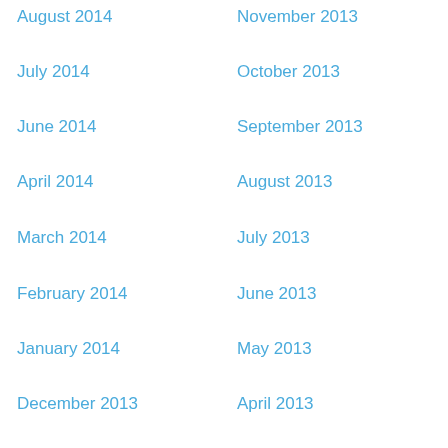August 2014
July 2014
June 2014
April 2014
March 2014
February 2014
January 2014
December 2013
November 2013
October 2013
September 2013
August 2013
July 2013
June 2013
May 2013
April 2013
March 2013
February 2013
January 2013
December 2012